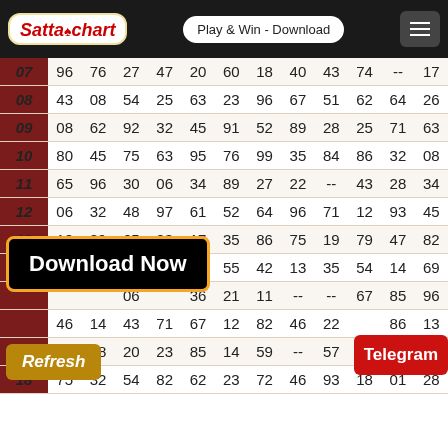Sattaochart — Play & Win - Download
| Row | C1 | C2 | C3 | C4 | C5 | C6 | C7 | C8 | C9 | C10 | C11 | C12 |
| --- | --- | --- | --- | --- | --- | --- | --- | --- | --- | --- | --- | --- |
| 07 | 96 | 76 | 27 | 47 | 20 | 60 | 18 | 40 | 43 | 74 | -- | 17 |
| 08 | 43 | 08 | 54 | 25 | 63 | 23 | 96 | 67 | 51 | 62 | 64 | 26 |
| 09 | 08 | 62 | 92 | 32 | 45 | 91 | 52 | 89 | 28 | 25 | 71 | 63 |
| 10 | 80 | 45 | 75 | 63 | 95 | 76 | 99 | 35 | 84 | 86 | 32 | 08 |
| 11 | 65 | 96 | 30 | 06 | 34 | 89 | 27 | 22 | -- | 43 | 28 | 34 |
| 12 | 06 | 32 | 48 | 97 | 61 | 52 | 64 | 96 | 71 | 12 | 93 | 45 |
| 13 | 18 | 89 | 65 | 83 | 17 | 35 | 86 | 75 | 19 | 79 | 47 | 82 |
| 14 | -- | -- | -- | -- | 52 | 55 | 42 | 13 | 35 | 54 | 14 | 69 |
| 15 | -- | -- | -- | 06 | 36 | 21 | 11 | -- | -- | 67 | 85 | 96 |
| 16 | -- | 46 | 14 | 43 | 71 | 67 | 12 | 82 | 46 | 22 | 86 | 13 |
| 17 | 70 | 38 | 20 | 23 | 85 | 14 | 59 | -- | 57 | 24 | 82 | 52 |
| 18 | 75 | 32 | 54 | 82 | 62 | 23 | 72 | 46 | 93 | 18 | 01 | 28 |
Download Now
Refresh
Telegram